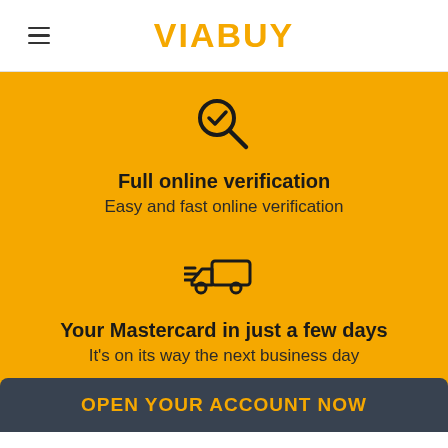VIABUY
[Figure (illustration): Magnifying glass with checkmark icon]
Full online verification
Easy and fast online verification
[Figure (illustration): Delivery truck with speed lines icon]
Your Mastercard in just a few days
It's on its way the next business day
OPEN YOUR ACCOUNT NOW